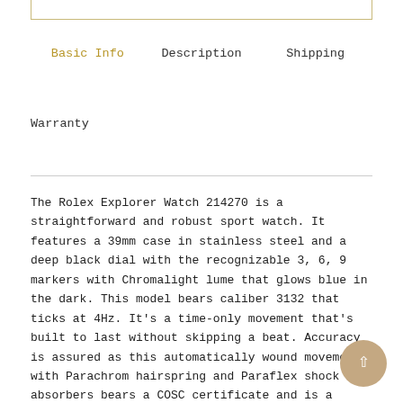Basic Info | Description | Shipping
Warranty
The Rolex Explorer Watch 214270 is a straightforward and robust sport watch. It features a 39mm case in stainless steel and a deep black dial with the recognizable 3, 6, 9 markers with Chromalight lume that glows blue in the dark. This model bears caliber 3132 that ticks at 4Hz. It's a time-only movement that's built to last without skipping a beat. Accuracy is assured as this automatically wound movement with Parachrom hairspring and Paraflex shock absorbers bears a COSC certificate and is a Superlative Chronometer. This is indeed from of